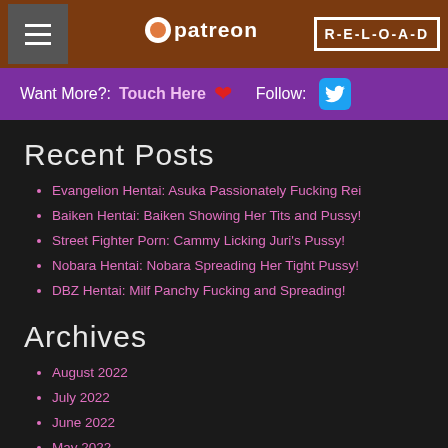Patreon | R-E-L-O-A-D
Want More?: Touch Here ❤ Follow:
Recent Posts
Evangelion Hentai: Asuka Passionately Fucking Rei
Baiken Hentai: Baiken Showing Her Tits and Pussy!
Street Fighter Porn: Cammy Licking Juri's Pussy!
Nobara Hentai: Nobara Spreading Her Tight Pussy!
DBZ Hentai: Milf Panchy Fucking and Spreading!
Archives
August 2022
July 2022
June 2022
May 2022